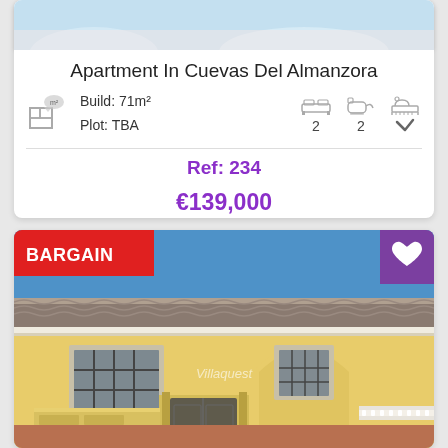[Figure (photo): Top portion of a property listing card showing a partial pool/beach image at the top]
Apartment In Cuevas Del Almanzora
Build: 71m²
Plot: TBA
2 bedrooms, 2 bathrooms, pool
Ref: 234
€139,000
[Figure (photo): Exterior photo of a Spanish-style yellow house with white arch, iron gate, tile roof, blue sky. BARGAIN badge top-left, purple heart badge top-right, Villaquest watermark in center.]